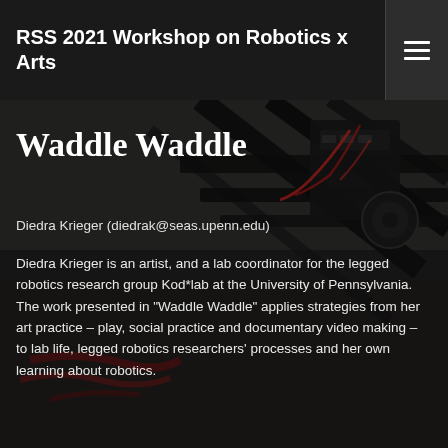RSS 2021 Workshop on Robotics x Arts
[Figure (photo): Background photograph of a legged robot with mechanical parts, wires, and colorful paint marks visible on a surface]
Waddle Waddle
Diedra Krieger (diedrak@seas.upenn.edu)
Diedra Krieger is an artist, and a lab coordinator for the legged robotics research group Kod*lab at the University of Pennsylvania. The work presented in "Waddle Waddle" applies strategies from her art practice – play, social practice and documentary video making – to lab life, legged robotics researchers' processes and her own learning about robotics.